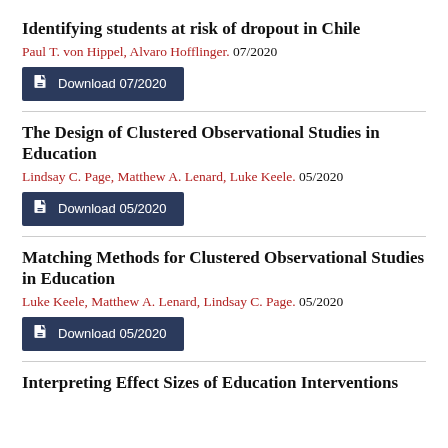Identifying students at risk of dropout in Chile
Paul T. von Hippel, Alvaro Hofflinger. 07/2020
Download 07/2020
The Design of Clustered Observational Studies in Education
Lindsay C. Page, Matthew A. Lenard, Luke Keele. 05/2020
Download 05/2020
Matching Methods for Clustered Observational Studies in Education
Luke Keele, Matthew A. Lenard, Lindsay C. Page. 05/2020
Download 05/2020
Interpreting Effect Sizes of Education Interventions